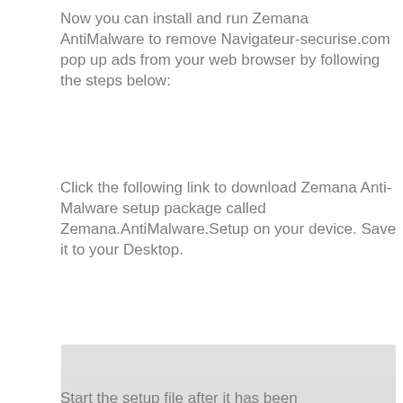Now you can install and run Zemana AntiMalware to remove Navigateur-securise.com pop up ads from your web browser by following the steps below:
Click the following link to download Zemana Anti-Malware setup package called Zemana.AntiMalware.Setup on your device. Save it to your Desktop.
[Figure (screenshot): Screenshot of Zemana AntiMalware download card. Shows a light gray box with red bold title 'Zemana AntiMalware', followed by metadata: 156869 downloads, Author: Zemana Ltd, Category: Security tools, Update: July 16, 2019.]
Start the setup file after it has been